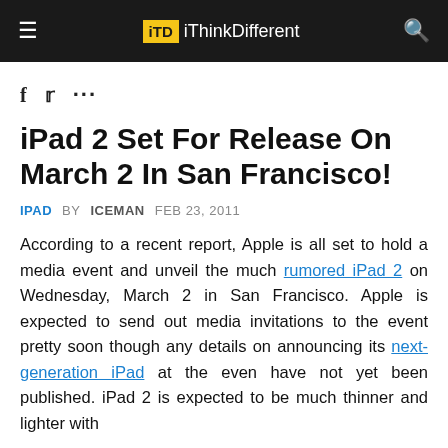iThinkDifferent
iPad 2 Set For Release On March 2 In San Francisco!
IPAD  BY ICEMAN  FEB 23, 2011
According to a recent report, Apple is all set to hold a media event and unveil the much rumored iPad 2 on Wednesday, March 2 in San Francisco. Apple is expected to send out media invitations to the event pretty soon though any details on announcing its next-generation iPad at the even have not yet been published. iPad 2 is expected to be much thinner and lighter with